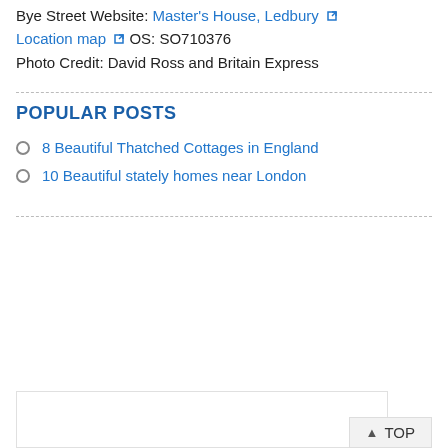Bye Street
Website: Master's House, Ledbury [external link]
Location map [external link]
OS: SO710376
Photo Credit: David Ross and Britain Express
POPULAR POSTS
8 Beautiful Thatched Cottages in England
10 Beautiful stately homes near London
▲ TOP